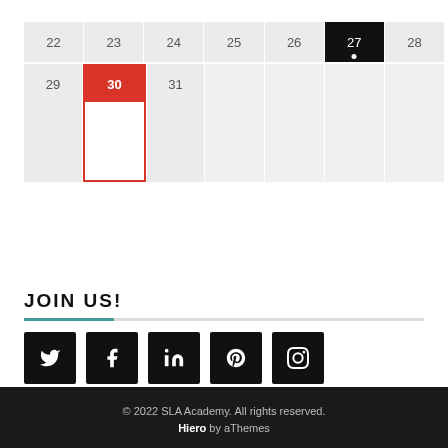| 22 | 23 | 24 | 25 | 26 | 27 | 28 |
| --- | --- | --- | --- | --- | --- | --- |
| 29 | 30 | 31 |  |  |  |  |
JOIN US!
[Figure (other): Social media icons: Twitter, Facebook, LinkedIn, Pinterest, Instagram]
© 2022 SLA Academy. All rights reserved.
Hiero by aThemes